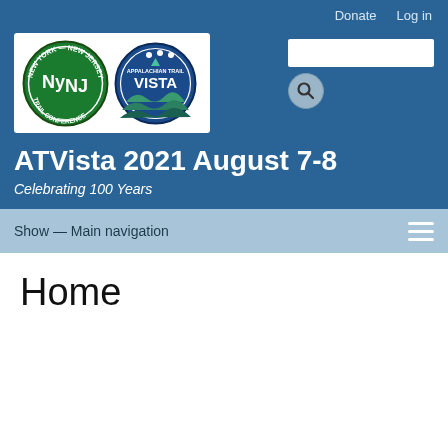Donate   Log in
[Figure (logo): New York - New Jersey Trail Conference logo (green circular badge with NyNJ letters) and Appalachian Trail VISTA logo (blue circular badge with hikers and mountain scene)]
ATVista 2021 August 7-8
Celebrating 100 Years
Show — Main navigation
Home